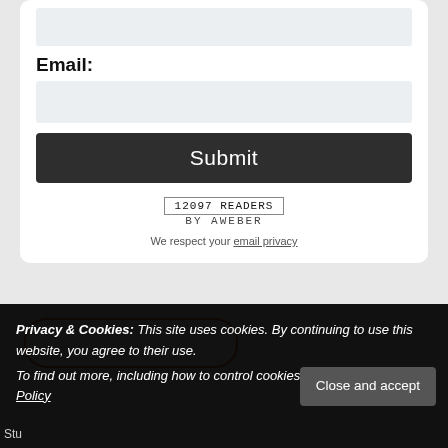[Figure (screenshot): Email input field (greyed out text box)]
Email:
[Figure (screenshot): Email text input box (greyed out)]
[Figure (screenshot): Submit button - dark background with white text]
12097 READERS
BY AWEBER
We respect your email privacy
Privacy & Cookies: This site uses cookies. By continuing to use this website, you agree to their use.
To find out more, including how to control cookies, see here: Cookie Policy
Close and accept
Stu